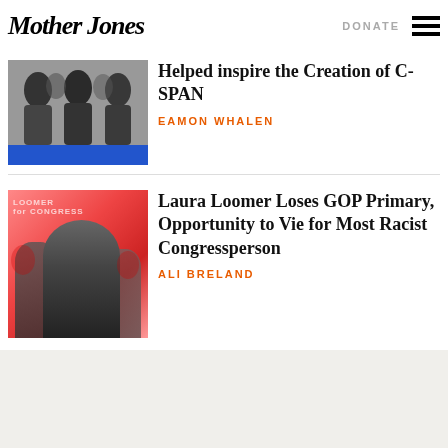Mother Jones
DONATE
[Figure (photo): Black and white photo of people with a blue banner at the bottom]
Helped inspire the Creation of C-SPAN
EAMON WHALEN
[Figure (photo): Red-tinted photo of Laura Loomer campaign scene with Loomer for Congress signage]
Laura Loomer Loses GOP Primary, Opportunity to Vie for Most Racist Congressperson
ALI BRELAND